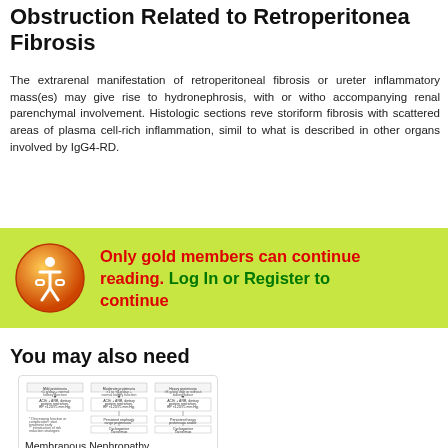Obstruction Related to Retroperitoneal Fibrosis
The extrarenal manifestation of retroperitoneal fibrosis or ureter inflammatory mass(es) may give rise to hydronephrosis, with or without accompanying renal parenchymal involvement. Histologic sections reveal storiform fibrosis with scattered areas of plasma cell-rich inflammation, similar to what is described in other organs involved by IgG4-RD.
[Figure (infographic): Gold membership banner with orange icon and text: Only gold members can continue reading. Log In or Register to continue]
You may also need
[Figure (flowchart): Flowchart for Membranous Nephropathy showing mild, moderate, and heavy proteinuria pathways]
Membranous Nephropathy